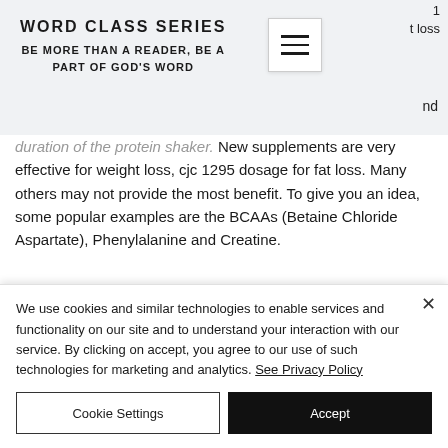WORD CLASS SERIES
BE MORE THAN A READER, BE A PART OF GOD'S WORD
duration of the protein shaker. New supplements are very effective for weight loss, cjc 1295 dosage for fat loss. Many others may not provide the most benefit. To give you an idea, some popular examples are the BCAAs (Betaine Chloride Aspartate), Phenylalanine and Creatine.
We use cookies and similar technologies to enable services and functionality on our site and to understand your interaction with our service. By clicking on accept, you agree to our use of such technologies for marketing and analytics. See Privacy Policy
Cookie Settings
Accept